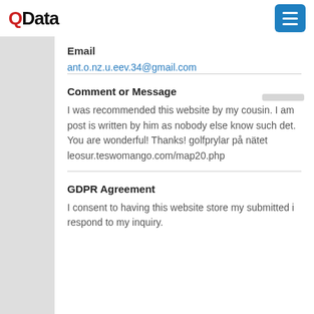QData
Email
ant.o.nz.u.eev.34@gmail.com
Comment or Message
I was recommended this website by my cousin. I am post is written by him as nobody else know such det. You are wonderful! Thanks! golfprylar på nätet leosur.teswomango.com/map20.php
GDPR Agreement
I consent to having this website store my submitted i respond to my inquiry.